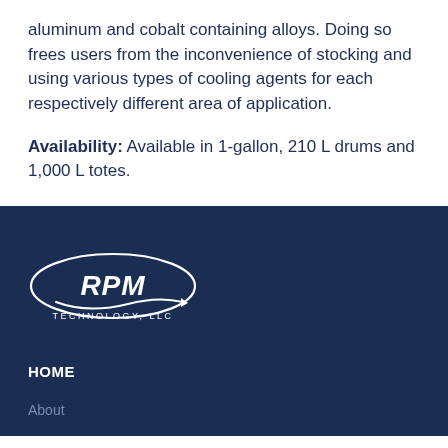aluminum and cobalt containing alloys. Doing so frees users from the inconvenience of stocking and using various types of cooling agents for each respectively different area of application.
Availability: Available in 1-gallon, 210 L drums and 1,000 L totes.
[Figure (logo): RPM Technology, LLC oval logo with white text and swoosh graphic on dark navy background]
HOME
About